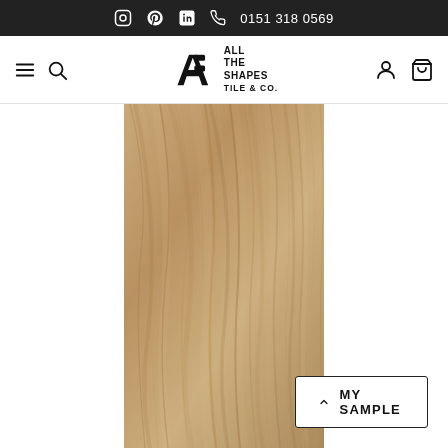0151 318 0569
[Figure (logo): All The Shapes Tile & Co. logo with stylized A and S letterform]
[Figure (photo): Close-up photo of a wood-effect ceramic tile with warm sandy-brown tones and natural wood grain texture]
MY SAMPLE